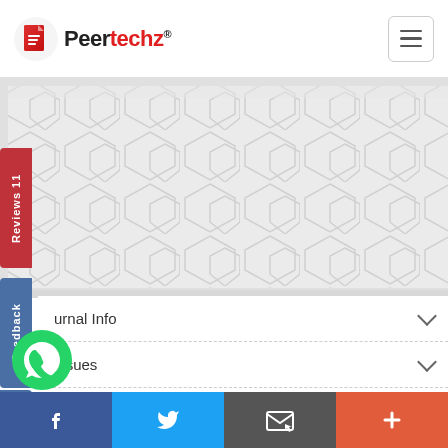Peertechz
[Figure (illustration): Peertechz logo with red document icon and stylized text. Hamburger menu icon in top right.]
[Figure (infographic): Gray hero banner area with hexagonal pattern background. Side tabs: 'Reviews 11' in red and 'Feedback' in blue on the left edge.]
Journal Info
Issues
Editorial Board
Guidelines
Online Submissions
ssues
[Figure (infographic): Bottom navigation bar with Facebook (blue), Twitter (light blue), Email (gray), and Plus (orange-red) icons. WhatsApp floating button bottom-left.]